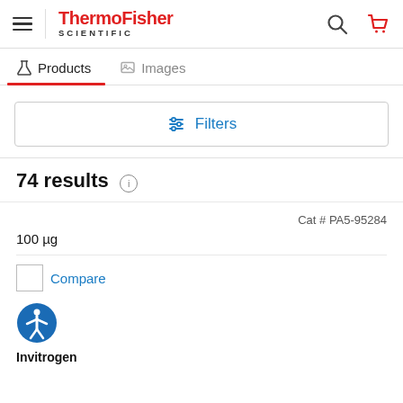[Figure (screenshot): ThermoFisher Scientific website header with hamburger menu, logo, search icon, and cart icon]
Products | Images tabs
Filters button
74 results
Cat # PA5-95284
100 µg
Compare
Invitrogen